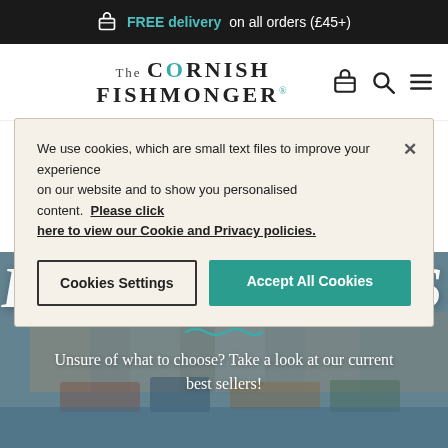FREE delivery on all orders (£45+)
[Figure (logo): The Cornish Fishmonger logo with basket, search, and menu icons]
We use cookies, which are small text files to improve your experience on our website and to show you personalised content.  Please click here to view our Cookie and Privacy policies.
Cookies Settings
Accept All Cookies
BEST SELLERS
Unsure of what to choose? Take a look at our current best sellers!